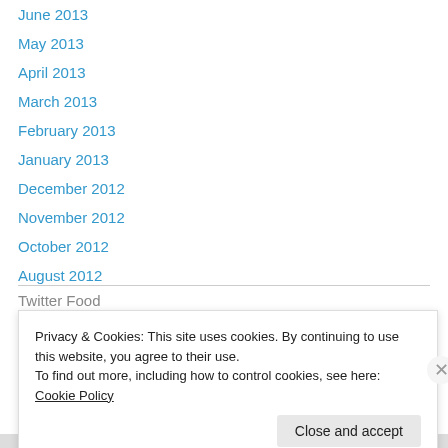June 2013
May 2013
April 2013
March 2013
February 2013
January 2013
December 2012
November 2012
October 2012
August 2012
Twitter Food
Privacy & Cookies: This site uses cookies. By continuing to use this website, you agree to their use.
To find out more, including how to control cookies, see here: Cookie Policy